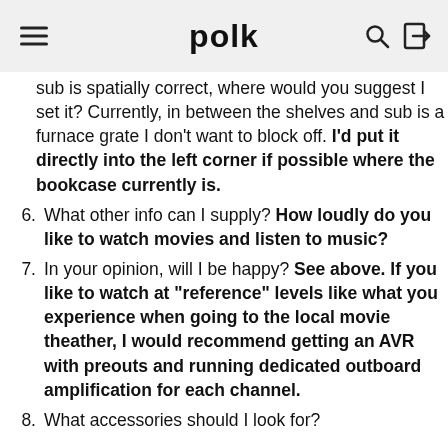polk
sub is spatially correct, where would you suggest I set it? Currently, in between the shelves and sub is a furnace grate I don't want to block off. I'd put it directly into the left corner if possible where the bookcase currently is.
6. What other info can I supply? How loudly do you like to watch movies and listen to music?
7. In your opinion, will I be happy? See above. If you like to watch at "reference" levels like what you experience when going to the local movie theather, I would recommend getting an AVR with preouts and running dedicated outboard amplification for each channel.
8. What accessories should I look for?